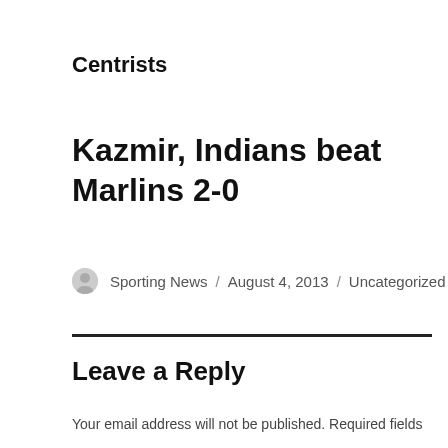Centrists
Kazmir, Indians beat Marlins 2-0
Sporting News / August 4, 2013 / Uncategorized
Leave a Reply
Your email address will not be published. Required fields